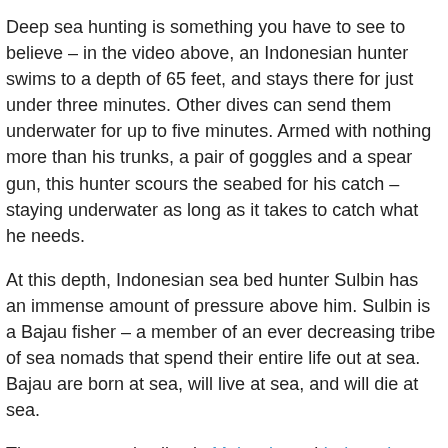Deep sea hunting is something you have to see to believe – in the video above, an Indonesian hunter swims to a depth of 65 feet, and stays there for just under three minutes. Other dives can send them underwater for up to five minutes. Armed with nothing more than his trunks, a pair of goggles and a spear gun, this hunter scours the seabed for his catch – staying underwater as long as it takes to catch what he needs.
At this depth, Indonesian sea bed hunter Sulbin has an immense amount of pressure above him. Sulbin is a Bajau fisher – a member of an ever decreasing tribe of sea nomads that spend their entire life out at sea. Bajau are born at sea, will live at sea, and will die at sea.
These sea gypsies live in Malaysia and Indonesia. They live on houseboats or in stilt houses off the shores. So much of their time is spent in the water, they often feel landsick when they are on dry land.Because of the pressure from diving,